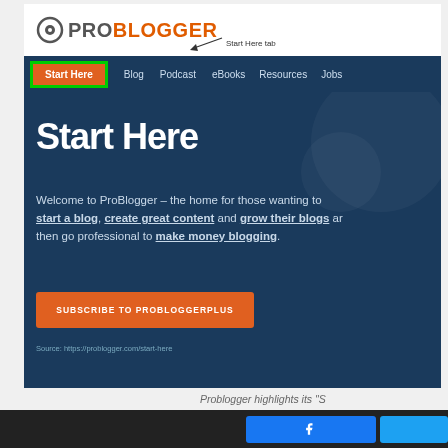[Figure (screenshot): Screenshot of ProBlogger website showing the logo at top, navigation bar with 'Start Here' tab highlighted in green border, hero section with dark blue background showing 'Start Here' heading, welcome text about starting a blog and making money blogging, orange SUBSCRIBE TO PROBLOGGERPLUS button, and source URL https://problogger.com/start-here]
Problogger highlights its "S
Pay attention to email list churn rates. Where n